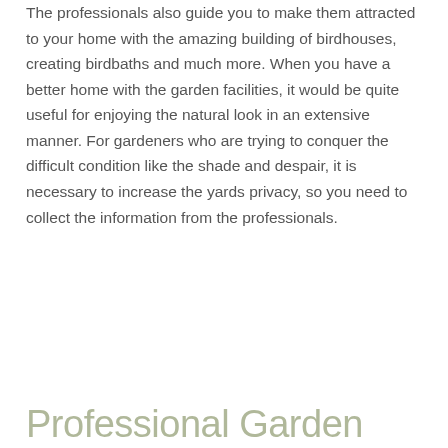The professionals also guide you to make them attracted to your home with the amazing building of birdhouses, creating birdbaths and much more. When you have a better home with the garden facilities, it would be quite useful for enjoying the natural look in an extensive manner. For gardeners who are trying to conquer the difficult condition like the shade and despair, it is necessary to increase the yards privacy, so you need to collect the information from the professionals.
Professional Garden